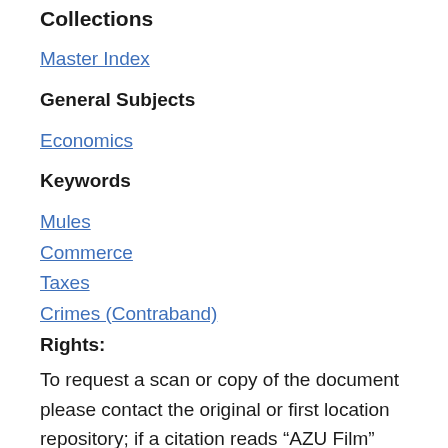Collections
Master Index
General Subjects
Economics
Keywords
Mules
Commerce
Taxes
Crimes (Contraband)
Rights:
To request a scan or copy of the document please contact the original or first location repository; if a citation reads “AZU Film” please submit the citation to LBRY-askddt@email.arizona.edu